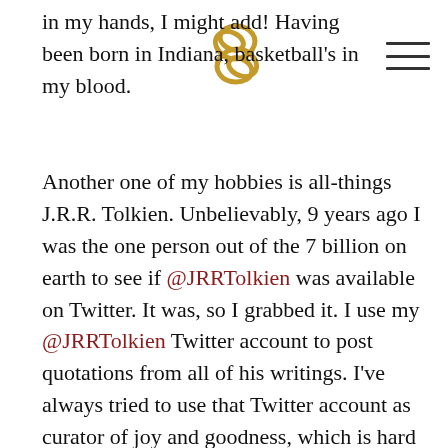in my hands, I might add! Having been born in Indiana, basketball's in my blood.
[Figure (illustration): Decorative gold/bronze infinity knot or chain link symbol overlaid on text]
Another one of my hobbies is all-things J.R.R. Tolkien. Unbelievably, 9 years ago I was the one person out of the 7 billion on earth to see if @JRRTolkien was available on Twitter. It was, so I grabbed it. I use my @JRRTolkien Twitter account to post quotations from all of his writings. I've always tried to use that Twitter account as curator of joy and goodness, which is hard to find on social media these days. With over 117,000 followers, I view my Tolkien hobby as an opportunity to be a steward of redemptive-themes in our fallen world.